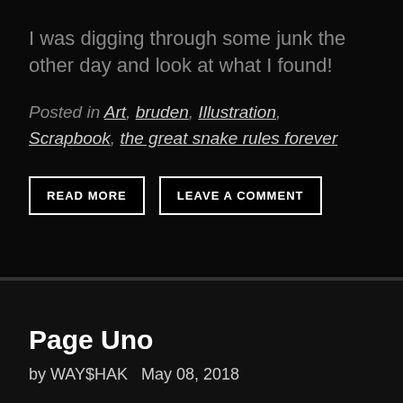I was digging through some junk the other day and look at what I found!
Posted in Art, bruden, Illustration, Scrapbook, the great snake rules forever
READ MORE
LEAVE A COMMENT
Page Uno
by WAY$HAK   May 08, 2018